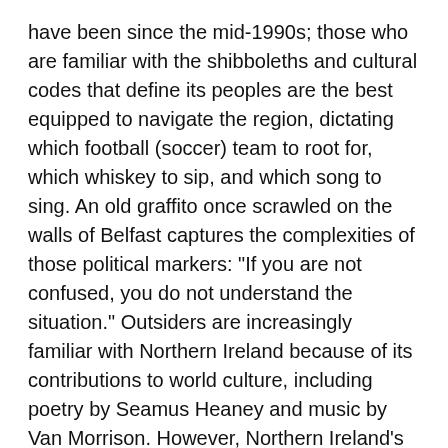have been since the mid-1990s; those who are familiar with the shibboleths and cultural codes that define its peoples are the best equipped to navigate the region, dictating which football (soccer) team to root for, which whiskey to sip, and which song to sing. An old graffito once scrawled on the walls of Belfast captures the complexities of those political markers: "If you are not confused, you do not understand the situation." Outsiders are increasingly familiar with Northern Ireland because of its contributions to world culture, including poetry by Seamus Heaney and music by Van Morrison. However, Northern Ireland's political fortunes have improved since then, and with that improvement has come a flourishing of the arts.
Located in Northern Ireland's capital, Belfast, a modern city whose historic core was severely damaged by